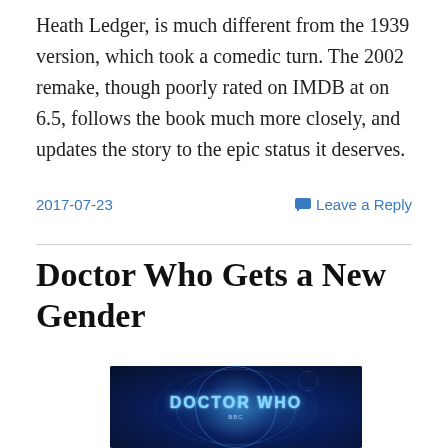Heath Ledger, is much different from the 1939 version, which took a comedic turn. The 2002 remake, though poorly rated on IMDB at on 6.5, follows the book much more closely, and updates the story to the epic status it deserves.
2017-07-23
Leave a Reply
Doctor Who Gets a New Gender
[Figure (photo): Doctor Who BBC logo image with blue glowing sci-fi background and circular design elements]